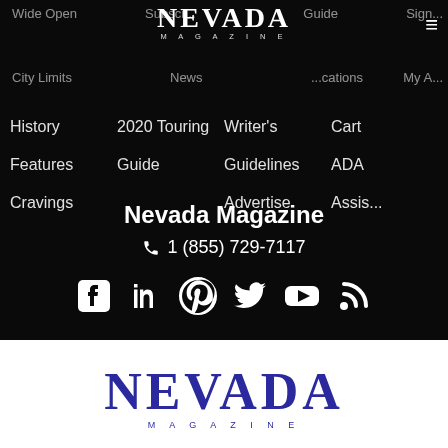[Figure (screenshot): Nevada Magazine website navigation menu on dark background showing menu items: Wide Open, Subscr..., Guide, Sign..., City Limits, News, ...cations, My A..., History, 2020 Touring, Writer's, Cart, Features, Guide, Guidelines, ADA, Cravings, Advertise, Assis...]
Nevada Magazine
1 (855) 729-7117
[Figure (logo): Nevada Magazine logo in dark blue/purple on white background, large serif NEVADA text with MAGAZINE subtitle]
NEVADA MAGAZINE